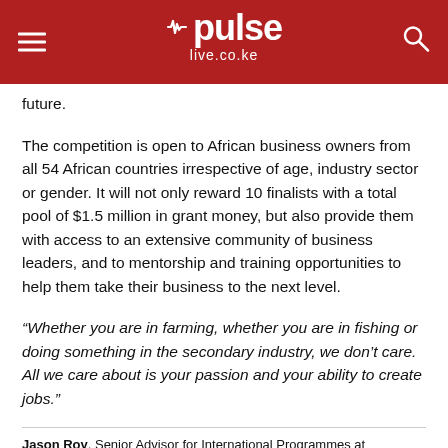pulse live.co.ke
future.
The competition is open to African business owners from all 54 African countries irrespective of age, industry sector or gender. It will not only reward 10 finalists with a total pool of $1.5 million in grant money, but also provide them with access to an extensive community of business leaders, and to mentorship and training opportunities to help them take their business to the next level.
“Whether you are in farming, whether you are in fishing or doing something in the secondary industry, we don’t care. All we care about is your passion and your ability to create jobs.”
Jason Roy, Senior Advisor for International Programmes at